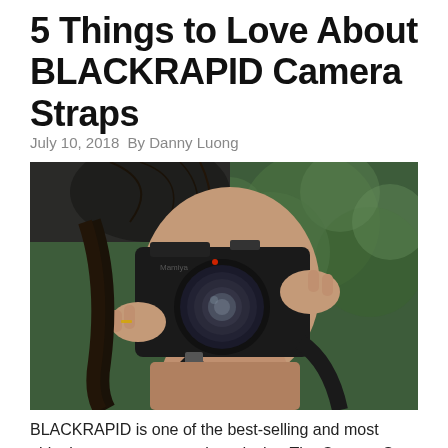5 Things to Love About BLACKRAPID Camera Straps
July 10, 2018  By Danny Luong
[Figure (photo): A woman holding a large medium-format camera up to her face, obscuring most of it, with a black camera strap visible. Green blurred foliage in the background.]
BLACKRAPID is one of the best-selling and most ubiquitous camera strap brands that The Camera Store has